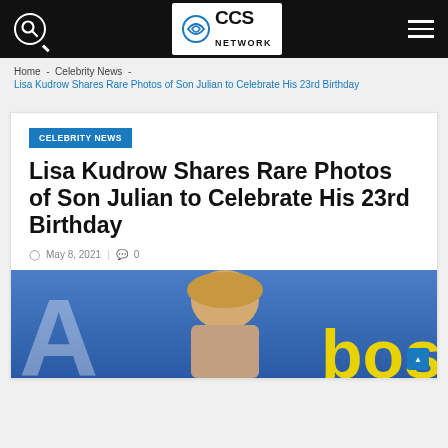CCS Network
Home - Celebrity News - Lisa Kudrow Shares Rare Photos of Son Julian to Celebrate His 23rd Birthday
CELEBRITY NEWS
Lisa Kudrow Shares Rare Photos of Son Julian to Celebrate His 23rd Birthday
May 8, 2021 | 0
[Figure (photo): Photo of a woman with blonde hair on a blue background with partial letter A on left and yellow text 'bos' on right]